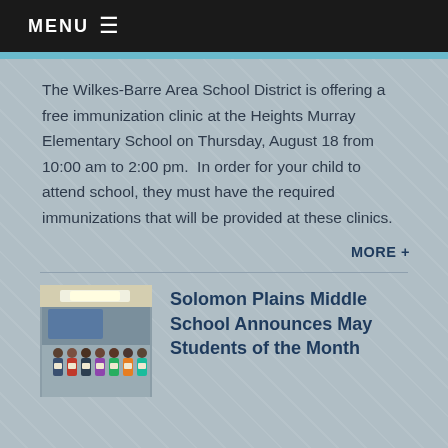MENU ☰
The Wilkes-Barre Area School District is offering a free immunization clinic at the Heights Murray Elementary School on Thursday, August 18 from 10:00 am to 2:00 pm.  In order for your child to attend school, they must have the required immunizations that will be provided at these clinics.
MORE +
[Figure (photo): Group photo of students and staff inside a school gymnasium or classroom, holding papers or certificates, with a display board in the background.]
Solomon Plains Middle School Announces May Students of the Month